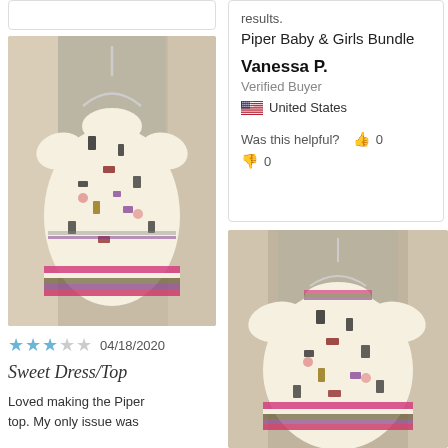[Figure (photo): A white/cream patterned baby dress/top hanging on a hanger against a wooden background with mesh]
★★★☆☆  04/18/2020
Sweet Dress/Top
Loved making the Piper top. My only issue was
results.
Piper Baby & Girls Bundle
Vanessa P.
Verified Buyer
United States
Was this helpful?  👍 0
👎 0
[Figure (photo): Same white/cream patterned baby dress/top (Piper) on a hanger, similar angle, showing the full garment with colorful stripe and confetti-like print pattern]